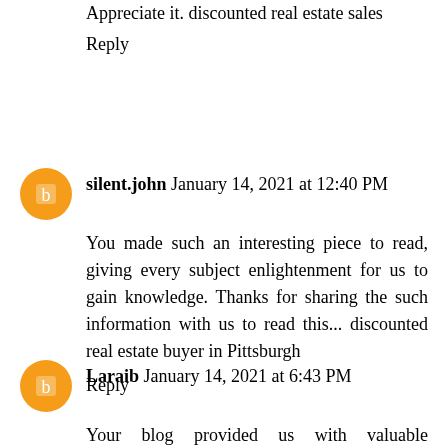Appreciate it. discounted real estate sales
Reply
silent.john January 14, 2021 at 12:40 PM
You made such an interesting piece to read, giving every subject enlightenment for us to gain knowledge. Thanks for sharing the such information with us to read this... discounted real estate buyer in Pittsburgh
Reply
Laraib January 14, 2021 at 6:43 PM
Your blog provided us with valuable information to work with.every tips of your post are awesome. Thanks a